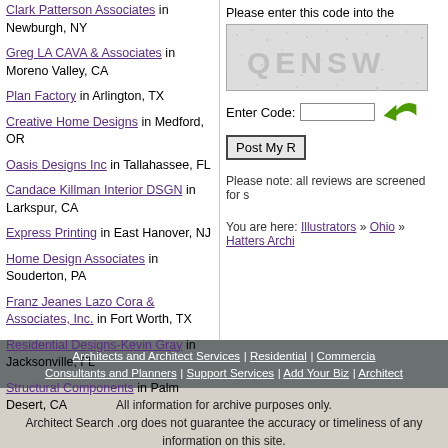Clark Patterson Associates in Newburgh, NY
Greg LA CAVA & Associates in Moreno Valley, CA
Plan Factory in Arlington, TX
Creative Home Designs in Medford, OR
Oasis Designs Inc in Tallahassee, FL
Candace Killman Interior DSGN in Larkspur, CA
Express Printing in East Hanover, NJ
Home Design Associates in Souderton, PA
Franz Jeanes Lazo Cora & Associates, Inc. in Fort Worth, TX
Residential Designs-Kevin Gray in Jacksonville, FL
Structural Components in Palm Desert, CA
Please enter this code into the [field]
[Figure (other): CAPTCHA image showing text QENSW]
Enter Code: [input field] [arrow button]
Post My [Review]
Please note: all reviews are screened for s[pam]
You are here: Illustrators » Ohio » Hatters Archi[tects]
Architects and Architect Services | Residential | Commercial | Consultants and Planners | Support Services | Add Your Biz | Architect
All information for archive purposes only.
Architect Search .org does not guarantee the accuracy or timeliness of any information on this site.
Use at your own risk.